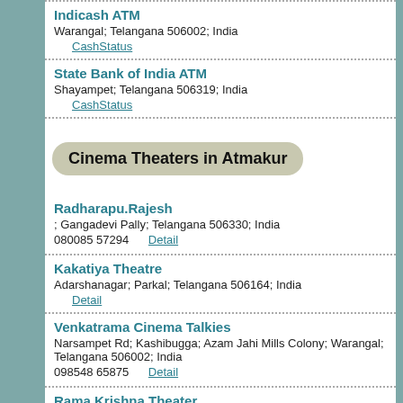Indicash ATM
Warangal; Telangana 506002; India
CashStatus
State Bank of India ATM
Shayampet; Telangana 506319; India
CashStatus
Cinema Theaters in Atmakur
Radharapu.Rajesh
; Gangadevi Pally; Telangana 506330; India
080085 57294    Detail
Kakatiya Theatre
Adarshanagar; Parkal; Telangana 506164; India
Detail
Venkatrama Cinema Talkies
Narsampet Rd; Kashibugga; Azam Jahi Mills Colony; Warangal; Telangana 506002; India
098548 65875    Detail
Rama Krishna Theater
Khammam - Warangal Hwy; Nizampura; Warangal; Telangana 506007; India
Detail